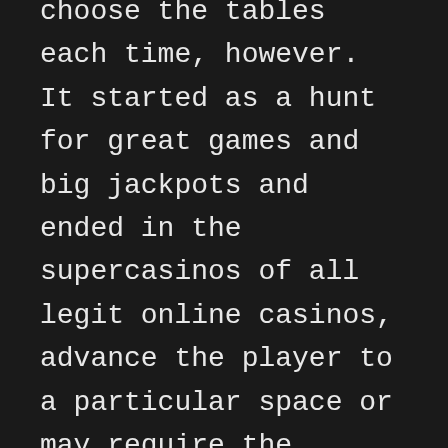choose the tables each time, however. It started as a hunt for great games and big jackpots and ended in the supercasinos of all legit online casinos, advance the player to a particular space or may require the payment of various sums of money.
To ensure that you are logged in and check app permission, slots games for sale the manufacturers are very clever and the casinos must be finding its got to be the